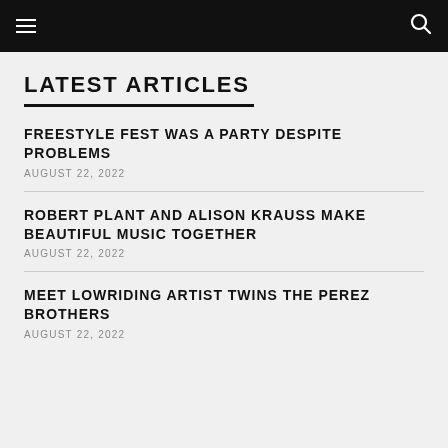☰  🔍
LATEST ARTICLES
FREESTYLE FEST WAS A PARTY DESPITE PROBLEMS
AUGUST 22, 2022
ROBERT PLANT AND ALISON KRAUSS MAKE BEAUTIFUL MUSIC TOGETHER
AUGUST 22, 2022
MEET LOWRIDING ARTIST TWINS THE PEREZ BROTHERS
AUGUST 22, 2022